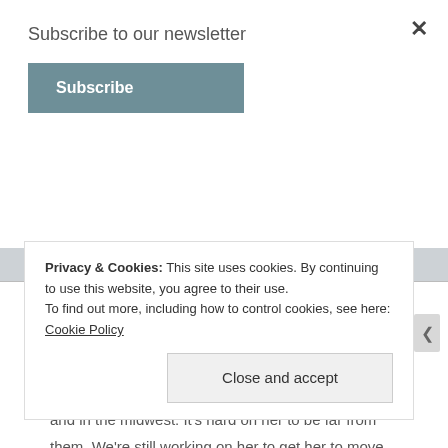Subscribe to our newsletter
Subscribe
Reply
Mikal says:
March 20, 2019 at 6:03 pm
I understand that, Jeannie! My mum lives in Canada and her grandchildren are on the west coat of the US and in the midwest. It’s hard on her to be far from them. We’re still working on her to get her to move
Privacy & Cookies: This site uses cookies. By continuing to use this website, you agree to their use.
To find out more, including how to control cookies, see here: Cookie Policy
Close and accept